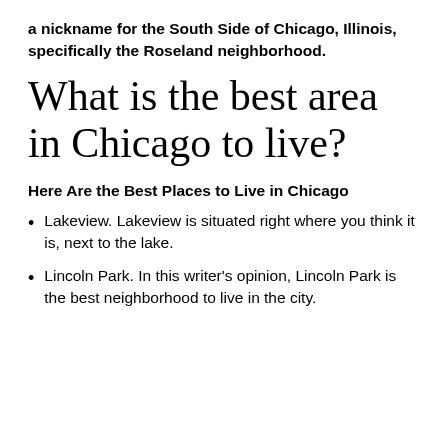a nickname for the South Side of Chicago, Illinois, specifically the Roseland neighborhood.
What is the best area in Chicago to live?
Here Are the Best Places to Live in Chicago
Lakeview. Lakeview is situated right where you think it is, next to the lake.
Lincoln Park. In this writer's opinion, Lincoln Park is the best neighborhood to live in the city.